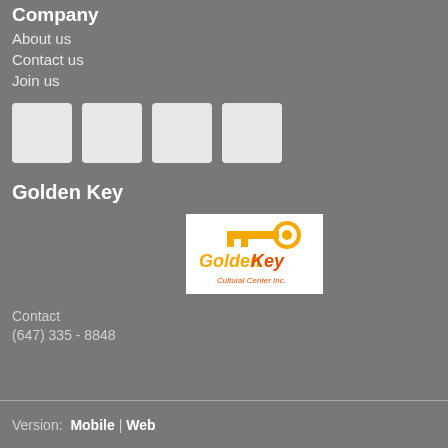Company
About us
Contact us
Join us
[Figure (other): Four white square social media icon placeholders in a row]
Golden Key
[Figure (logo): Golden Key Cultural Center Inc. logo — a golden key with orange text on white background]
Contact
(647) 335 - 8848
Version:  Mobile  |  Web